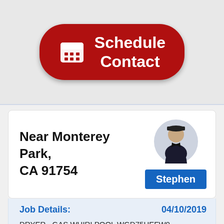[Figure (screenshot): Red rounded button with calendar icon and text 'Schedule Contact']
Near Monterey Park, CA 91754
[Figure (photo): Circular avatar photo of technician Stephen wearing dark uniform]
Stephen
Job Details:
04/10/2019
DRYER - GAS WHIRLPOOL WGD75HEFW0 "Ran diagnostics- ok. No heat. Found wire